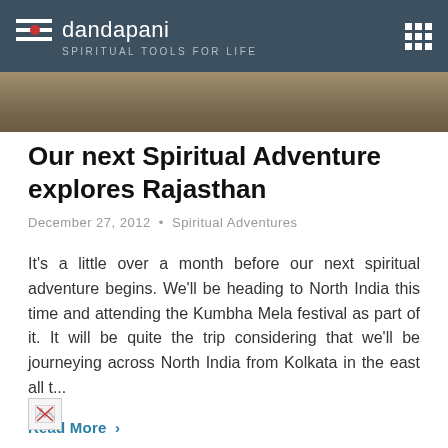dandapani — SPIRITUAL TOOLS FOR LIFE
[Figure (photo): Partial landscape/terrain photo strip below the header navigation bar]
Our next Spiritual Adventure explores Rajasthan
December 27, 2012 • Spiritual Adventures
It's a little over a month before our next spiritual adventure begins. We'll be heading to North India this time and attending the Kumbha Mela festival as part of it. It will be quite the trip considering that we'll be journeying across North India from Kolkata in the east all t...
Read More >
[Figure (photo): Broken/missing image placeholder at the bottom of the page]